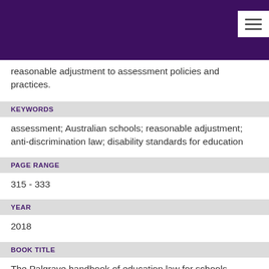reasonable adjustment to assessment policies and practices.
KEYWORDS
assessment; Australian schools; reasonable adjustment; anti-discrimination law; disability standards for education
PAGE RANGE
315 - 333
YEAR
2018
BOOK TITLE
The Palgrave handbook of education law for schools